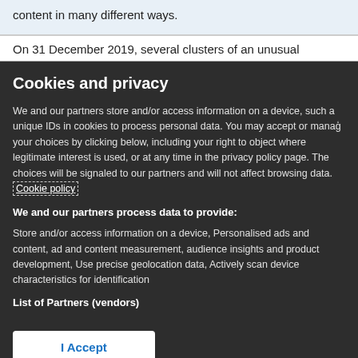content in many different ways.
On 31 December 2019, several clusters of an unusual
Cookies and privacy
We and our partners store and/or access information on a device, such a unique IDs in cookies to process personal data. You may accept or manage your choices by clicking below, including your right to object where legitimate interest is used, or at any time in the privacy policy page. These choices will be signaled to our partners and will not affect browsing data. Cookie policy
We and our partners process data to provide:
Store and/or access information on a device, Personalised ads and content, ad and content measurement, audience insights and product development, Use precise geolocation data, Actively scan device characteristics for identification
List of Partners (vendors)
I Accept